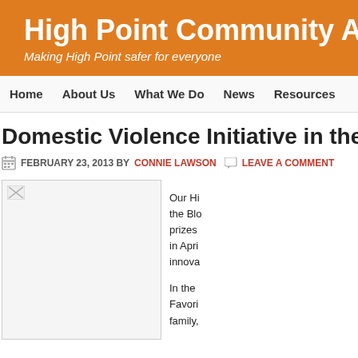High Point Community Agai
Making High Point safer for everyone
Home
About Us
What We Do
News
Resources
Domestic Violence Initiative in the Mayo
FEBRUARY 23, 2013 BY CONNIE LAWSON   LEAVE A COMMENT
[Figure (photo): Broken/missing image placeholder in article about Domestic Violence Initiative]
Our Hi... the Blo... prizes ... in Apri... innova...

In the ... Favori... family...